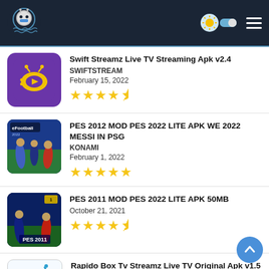APKream website header with logo, theme toggle, and hamburger menu
Swift Streamz Live TV Streaming Apk v2.4
SWIFTSTREAM
February 15, 2022
★★★★½
PES 2012 MOD PES 2022 LITE APK WE 2022 MESSI IN PSG
KONAMI
February 1, 2022
★★★★★
PES 2011 MOD PES 2022 LITE APK 50MB
October 21, 2021
★★★★½
Rapido Box Tv Streamz Live TV Original Apk v1.5
RapidStreamzCo
June 13, 2022
★★★★★